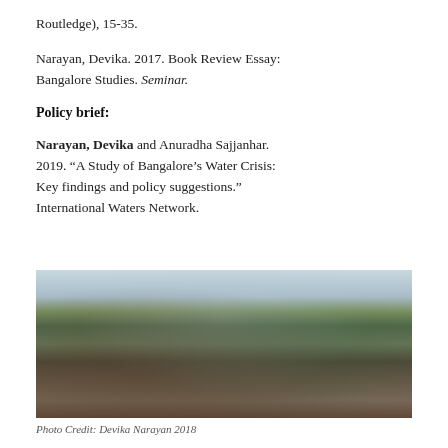Routledge), 15-35.
Narayan, Devika. 2017. Book Review Essay: Bangalore Studies. Seminar.
Policy brief:
Narayan, Devika and Anuradha Sajjanhar. 2019. “A Study of Bangalore’s Water Crisis: Key findings and policy suggestions.” International Waters Network.
[Figure (photo): Blurred outdoor photograph showing trees, foliage, and structures in the background against a pale sky. Photo Credit: Devika Narayan 2018.]
Photo Credit: Devika Narayan 2018